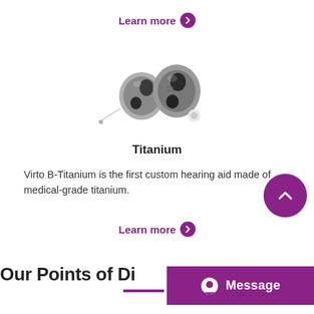Learn more
[Figure (photo): Two small in-ear hearing aid devices made of titanium/metallic material, shown side by side]
Titanium
Virto B-Titanium is the first custom hearing aid made of medical-grade titanium.
Learn more
Our Points of Di